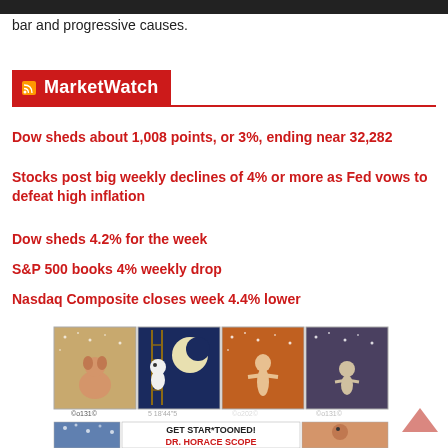bar and progressive causes.
MarketWatch
Dow sheds about 1,008 points, or 3%, ending near 32,282
Stocks post big weekly declines of 4% or more as Fed vows to defeat high inflation
Dow sheds 4.2% for the week
S&P 500 books 4% weekly drop
Nasdaq Composite closes week 4.4% lower
[Figure (illustration): Four comic strip panels showing cartoon animal characters with star backgrounds, followed by a bottom strip advertising DR. HORACE SCOPE star-tooned comic]
GET STAR*TOONED! DR. HORACE SCOPE